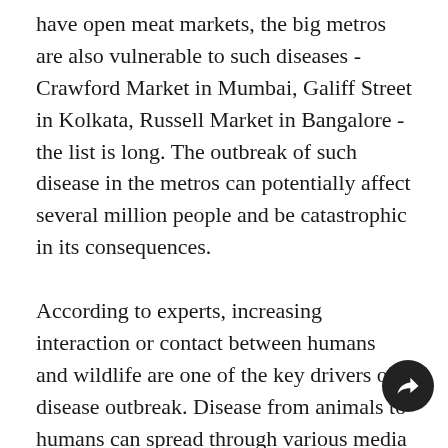have open meat markets, the big metros are also vulnerable to such diseases - Crawford Market in Mumbai, Galiff Street in Kolkata, Russell Market in Bangalore - the list is long. The outbreak of such disease in the metros can potentially affect several million people and be catastrophic in its consequences.

According to experts, increasing interaction or contact between humans and wildlife are one of the key drivers of disease outbreak. Disease from animals to humans can spread through various media including air, similar to how influenza is transmitted, or through saliva and other bodily fluids, following which some may mutate and become more difficult to contain and curb. If one thinks about it, wildlife trade, whether it is live or not, is a potential source for these diseases.  For example, eating wild meat  led to the outbreaks of EBOV, SARS-CoV, and the recent Wuhan virus. It is likely that a strain of the